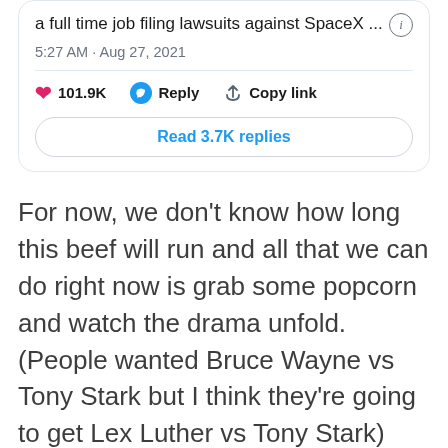[Figure (screenshot): Tweet card showing tweet text 'a full time job filing lawsuits against SpaceX ...', timestamp '5:27 AM · Aug 27, 2021', with 101.9K likes, Reply, Copy link actions, and 'Read 3.7K replies' button]
For now, we don't know how long this beef will run and all that we can do right now is grab some popcorn and watch the drama unfold. (People wanted Bruce Wayne vs Tony Stark but I think they're going to get Lex Luther vs Tony Stark)
However, for Bezos, this is not the first time he has invested in this type of research, in